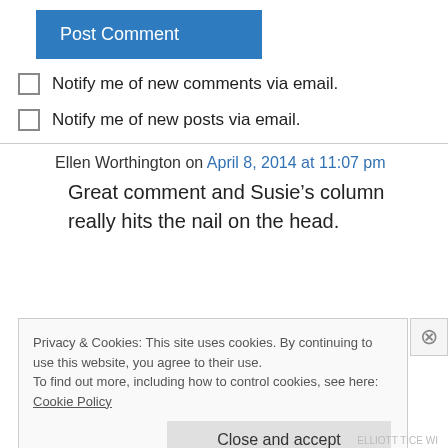[Figure (screenshot): Blue 'Post Comment' button]
Notify me of new comments via email.
Notify me of new posts via email.
Ellen Worthington on April 8, 2014 at 11:07 pm
Great comment and Susie’s column really hits the nail on the head.
Privacy & Cookies: This site uses cookies. By continuing to use this website, you agree to their use.
To find out more, including how to control cookies, see here: Cookie Policy
Close and accept